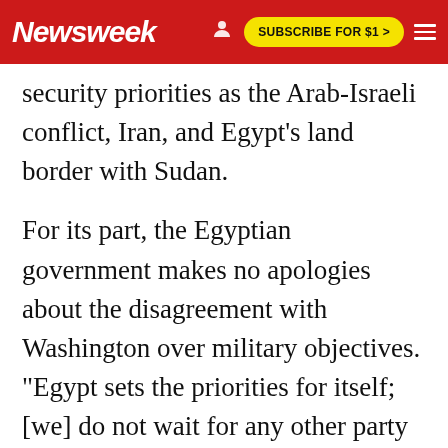Newsweek | SUBSCRIBE FOR $1 >
security priorities as the Arab-Israeli conflict, Iran, and Egypt's land border with Sudan.
For its part, the Egyptian government makes no apologies about the disagreement with Washington over military objectives. "Egypt sets the priorities for itself; [we] do not wait for any other party to set for us our own priorities," Foreign Ministry spokesman Hossam Zaki told NEWSWEEK. But Alex Vatanka, senior Middle East analyst at IHS Jane's and managing editor of Jane's Islamic Affairs Analyst